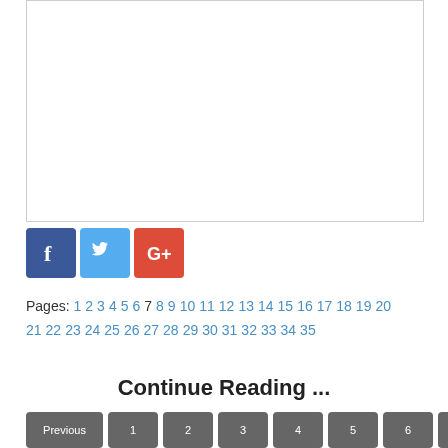[Figure (other): White rectangular box with border, likely an advertisement or image placeholder]
[Figure (other): Social media icons: Facebook (blue), Twitter (light blue), Google+ (red)]
Pages: 1 2 3 4 5 6 7 8 9 10 11 12 13 14 15 16 17 18 19 20 21 22 23 24 25 26 27 28 29 30 31 32 33 34 35
Continue Reading ...
Navigation buttons: Previous 1 2 3 4 5 6 7